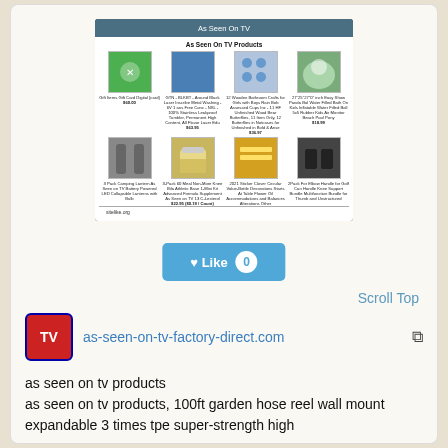[Figure (screenshot): Screenshot of 'As Seen On TV' product listing website (sitelike.org) showing a grid of 8 As Seen On TV products with prices]
[Figure (other): Blue 'Like 0' button with heart icon]
Scroll Top
[Figure (logo): TV logo icon (red with blue border) for as-seen-on-tv-factory-direct.com]
as-seen-on-tv-factory-direct.com
as seen on tv products
as seen on tv products, 100ft garden hose reel wall mount expandable 3 times tpe super-strength high